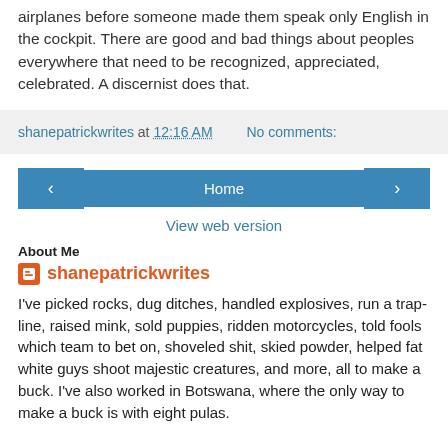airplanes before someone made them speak only English in the cockpit. There are good and bad things about peoples everywhere that need to be recognized, appreciated, celebrated. A discernist does that.
shanepatrickwrites at 12:16 AM    No comments:
‹  Home  ›
View web version
About Me
shanepatrickwrites
I've picked rocks, dug ditches, handled explosives, run a trap-line, raised mink, sold puppies, ridden motorcycles, told fools which team to bet on, shoveled shit, skied powder, helped fat white guys shoot majestic creatures, and more, all to make a buck. I've also worked in Botswana, where the only way to make a buck is with eight pulas.